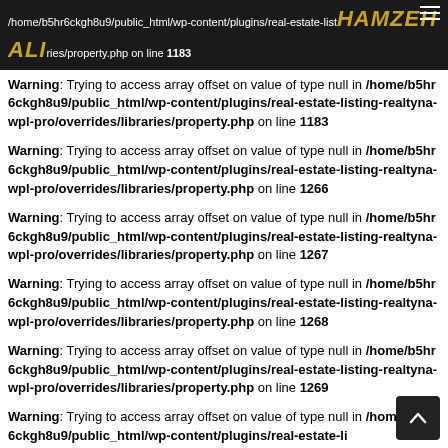HAMZEHALI /home/b5hr6ckgh8u9/public_html/wp-content/plugins/real-estate-listing-realtyna-wpl-pro/overrides/libraries/property.php on line 1183
Warning: Trying to access array offset on value of type null in /home/b5hr6ckgh8u9/public_html/wp-content/plugins/real-estate-listing-realtyna-wpl-pro/overrides/libraries/property.php on line 1183
Warning: Trying to access array offset on value of type null in /home/b5hr6ckgh8u9/public_html/wp-content/plugins/real-estate-listing-realtyna-wpl-pro/overrides/libraries/property.php on line 1266
Warning: Trying to access array offset on value of type null in /home/b5hr6ckgh8u9/public_html/wp-content/plugins/real-estate-listing-realtyna-wpl-pro/overrides/libraries/property.php on line 1267
Warning: Trying to access array offset on value of type null in /home/b5hr6ckgh8u9/public_html/wp-content/plugins/real-estate-listing-realtyna-wpl-pro/overrides/libraries/property.php on line 1268
Warning: Trying to access array offset on value of type null in /home/b5hr6ckgh8u9/public_html/wp-content/plugins/real-estate-listing-realtyna-wpl-pro/overrides/libraries/property.php on line 1269
Warning: Trying to access array offset on value of type null in /home/b5hr6ckgh8u9/public_html/wp-content/plugins/real-estate-listing-realtyna-wpl-pro/overrides/libraries/property.php